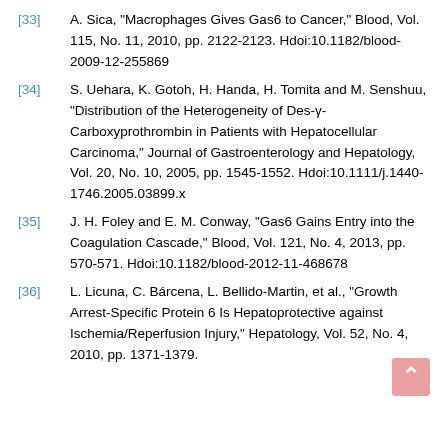[33] A. Sica, "Macrophages Gives Gas6 to Cancer," Blood, Vol. 115, No. 11, 2010, pp. 2122-2123. Hdoi:10.1182/blood-2009-12-255869
[34] S. Uehara, K. Gotoh, H. Handa, H. Tomita and M. Senshuu, "Distribution of the Heterogeneity of Des-γ-Carboxyprothrombin in Patients with Hepatocellular Carcinoma," Journal of Gastroenterology and Hepatology, Vol. 20, No. 10, 2005, pp. 1545-1552. Hdoi:10.1111/j.1440-1746.2005.03899.x
[35] J. H. Foley and E. M. Conway, "Gas6 Gains Entry into the Coagulation Cascade," Blood, Vol. 121, No. 4, 2013, pp. 570-571. Hdoi:10.1182/blood-2012-11-468678
[36] L. Licuna, C. Bárcena, L. Bellido-Martin, et al., "Growth Arrest-Specific Protein 6 Is Hepatoprotective against Ischemia/Reperfusion Injury," Hepatology, Vol. 52, No. 4, 2010, pp. 1371-1379.